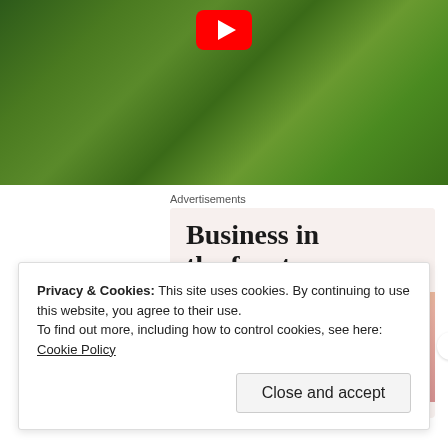[Figure (screenshot): Aerial drone video thumbnail showing green fields and trees with YouTube play button overlay]
Advertisements
[Figure (screenshot): Advertisement banner: 'Business in the front...' text on light background, with 'WordPress in the back...' on gradient orange-pink background]
Privacy & Cookies: This site uses cookies. By continuing to use this website, you agree to their use.
To find out more, including how to control cookies, see here: Cookie Policy